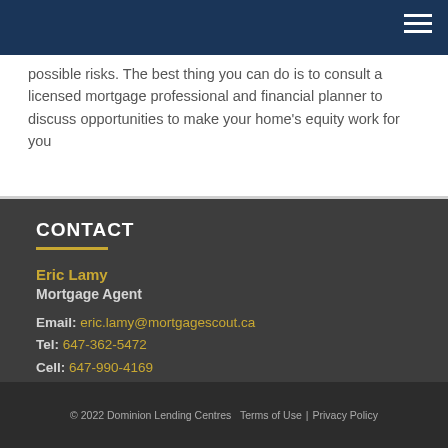possible risks. The best thing you can do is to consult a licensed mortgage professional and financial planner to discuss opportunities to make your home's equity work for you
CONTACT
Eric Lamy
Mortgage Agent
Email: eric.lamy@mortgagescout.ca
Tel: 647-362-5472
Cell: 647-990-4169
© 2022 Dominion Lending Centres   Terms of Use  |  Privacy Policy